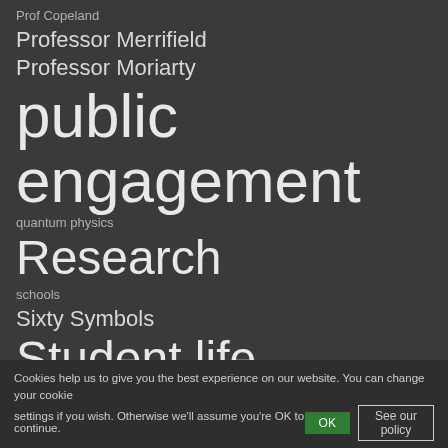Prof Copeland
Professor Merrifield
Professor Moriarty
public engagement
quantum physics
Research
schools
Sixty Symbols
Student life
student research
students
summer project
summer research
Teaching
Cookies help us to give you the best experience on our website. You can change your cookie settings if you wish. Otherwise we'll assume you're OK to continue. OK  See our policy